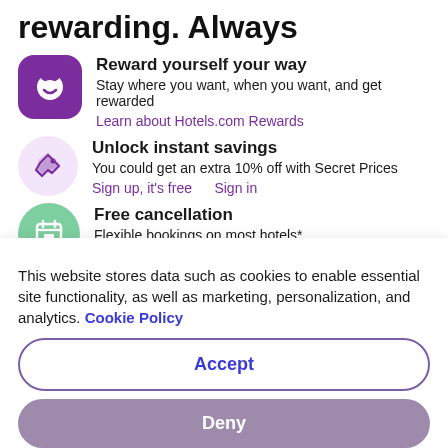rewarding. Always
Reward yourself your way
Stay where you want, when you want, and get rewarded
Learn about Hotels.com Rewards
Unlock instant savings
You could get an extra 10% off with Secret Prices
Sign up, it's free   Sign in
Free cancellation
Flexible bookings on most hotels*
This website stores data such as cookies to enable essential site functionality, as well as marketing, personalization, and analytics. Cookie Policy
Accept
Deny